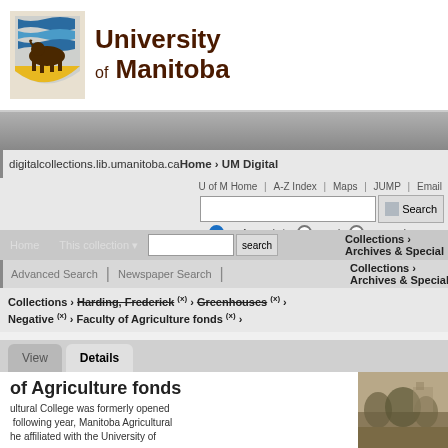[Figure (logo): University of Manitoba logo with bison and shield, blue and yellow stripes, alongside text 'University of Manitoba']
digitalcollections.lib.umanitoba.ca Home › UM Digital
U of M Home | A-Z Index | Maps | JUMP | Email
U of M Website  People  Research Experts (search radio buttons)
Home  This collection ▾  [search box]  search  Collections ›  Archives & Special
Advanced Search  |  Newspaper Search  |  Collections › Archives & Special
Collections › Harding, Frederick (x) › Greenhouses (x) › Negative (x) › Faculty of Agriculture fonds (x) ›
View  Details
of Agriculture fonds
ultural College was formerly opened following year, Manitoba Agricultural he affiliated with the University of